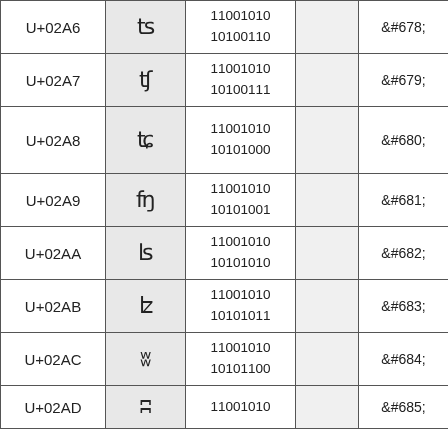| Code Point | Character | Binary |  | HTML Entity |
| --- | --- | --- | --- | --- |
| U+02A6 | ʦ | 11001010
10100110 |  | &#678; |
| U+02A7 | ʧ | 11001010
10100111 |  | &#679; |
| U+02A8 | ʨ | 11001010
10101000 |  | &#680; |
| U+02A9 | ʩ | 11001010
10101001 |  | &#681; |
| U+02AA | ʪ | 11001010
10101010 |  | &#682; |
| U+02AB | ʫ | 11001010
10101011 |  | &#683; |
| U+02AC | ʬ | 11001010
10101100 |  | &#684; |
| U+02AD | ʭ | 11001010 |  | &#685; |